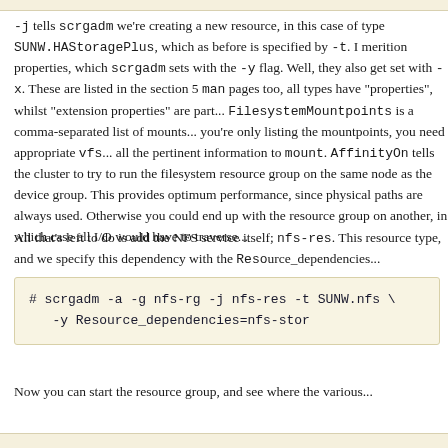-j tells scrgadm we're creating a new resource, in this case of type SUNW.HAStoragePlus, which as before is specified by -t. I mention properties, which scrgadm sets with the -y flag. Well, they also get set with -x. These are listed in the section 5 man pages too, all types have "properties", whilst "extension properties" are par... FilesystemMountpoints is a comma-separated list of mounts... you're only listing the mountpoints, you need appropriate vfs... all the pertinent information to mount. AffinityOn tells the c... same node as the device group. This provides optimum perfo... physical paths are always used. Otherwise you could end up w... resource group on another, in which case all I/O would have t...
All that's left to do is add the NFS service itself; nfs-res. This resource type, and we specify this dependency with the Reso...
# scrgadm -a -g nfs-rg -j nfs-res -t SUNW.nfs \
    -y Resource_dependencies=nfs-stor
Now you can start the resource group, and see where the var...